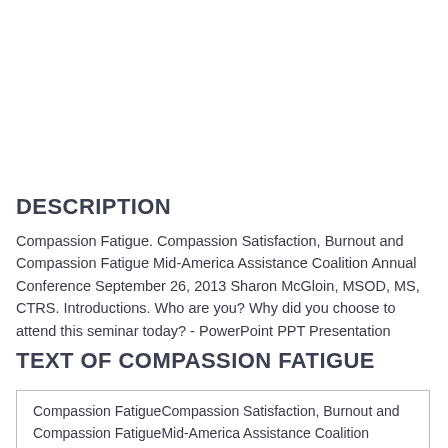DESCRIPTION
Compassion Fatigue. Compassion Satisfaction, Burnout and Compassion Fatigue Mid-America Assistance Coalition Annual Conference September 26, 2013 Sharon McGloin, MSOD, MS, CTRS. Introductions. Who are you? Why did you choose to attend this seminar today? - PowerPoint PPT Presentation
TEXT OF COMPASSION FATIGUE
Compassion FatigueCompassion Satisfaction, Burnout and Compassion FatigueMid-America Assistance Coalition